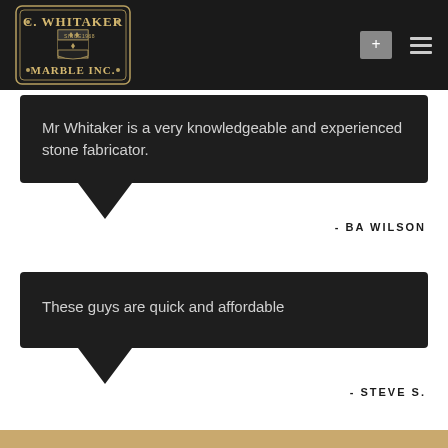[Figure (logo): C. Whitaker Marble Inc. shield/crest logo with 'Since 1968' text, on dark navigation bar with + and menu icons]
Mr Whitaker is a very knowledgeable and experienced stone fabricator.
- BA WILSON
These guys are quick and affordable
- STEVE S.